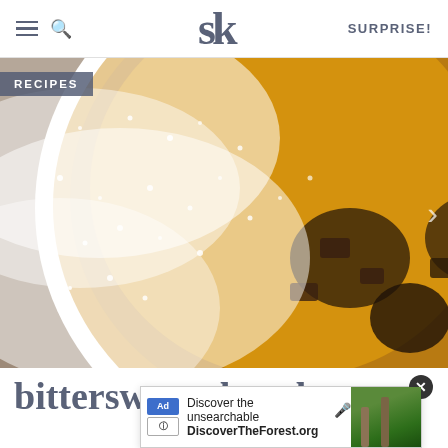SK | SURPRISE!
[Figure (photo): Close-up overhead photo of a bittersweet chocolate dessert in a white round baking dish, dusted heavily with powdered sugar, with visible chunks of chocolate and fruit, placed on a dark wooden surface with circular pattern.]
RECIPES
bittersweet chocolate
[Figure (screenshot): Advertisement overlay: 'Discover the unsearchable' from DiscoverTheForest.org with a photo of people walking in a forest, microphone icon, and a close (X) button.]